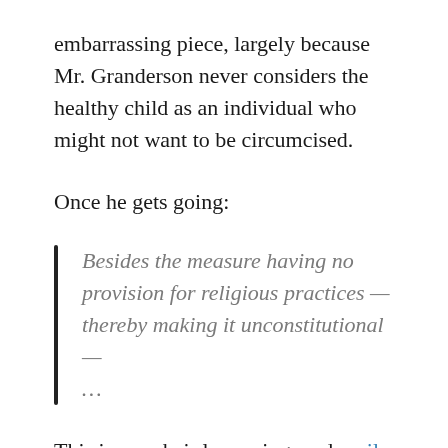embarrassing piece, largely because Mr. Granderson never considers the healthy child as an individual who might not want to be circumcised.
Once he gets going:
Besides the measure having no provision for religious practices — thereby making it unconstitutional — ...
This is armchair lawyering, and easily refuted. There are the merits of the First Amendment and parental rights, which are summarized quite well in these two posts at The Volokh